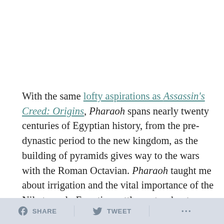With the same lofty aspirations as Assassin's Creed: Origins, Pharaoh spans nearly twenty centuries of Egyptian history, from the pre-dynastic period to the new kingdom, as the building of pyramids gives way to the wars with the Roman Octavian. Pharaoh taught me about irrigation and the vital importance of the Nile to early Egyptian settlements, about ancient gods and ritual rites of death, and about a tireless civilization that wrought sphinxes into being and birthed the Library of
Alexandria. Toiling in the sands of Egypt lit a fire in my
SHARE   TWEET   ...